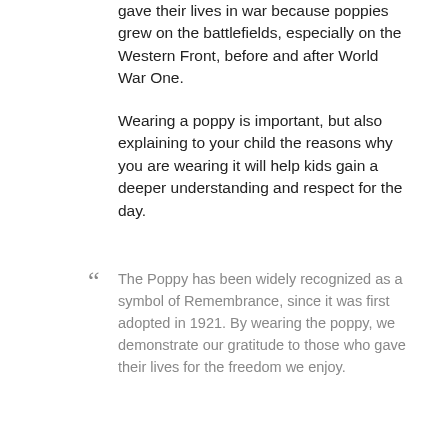gave their lives in war because poppies grew on the battlefields, especially on the Western Front, before and after World War One.
Wearing a poppy is important, but also explaining to your child the reasons why you are wearing it will help kids gain a deeper understanding and respect for the day.
“ The Poppy has been widely recognized as a symbol of Remembrance, since it was first adopted in 1921. By wearing the poppy, we demonstrate our gratitude to those who gave their lives for the freedom we enjoy.